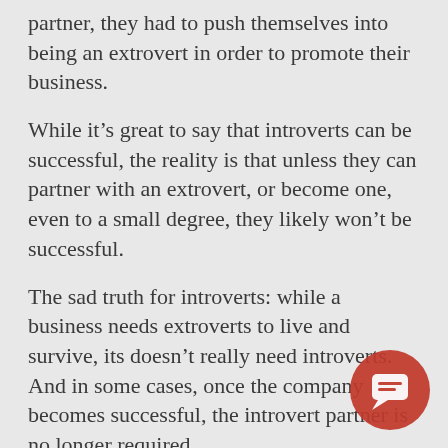partner, they had to push themselves into being an extrovert in order to promote their business.
While it's great to say that introverts can be successful, the reality is that unless they can partner with an extrovert, or become one, even to a small degree, they likely won't be successful.
The sad truth for introverts: while a business needs extroverts to live and survive, its doesn't really need introverts. And in some cases, once the company becomes successful, the introvert partner is no longer required.
On the flip side, while it may be painful for you – you can – as an introvert – change. You can take on the role of the extrovert, you can learn to be an extrovert, or at least find one to partner with who is trustworthy.
IMHO, as an introvert, you can't build a business alone. Scotty needs a Kirk to be out there, in fro... Unlike on the Enterprise, both Scotty and Kirk should